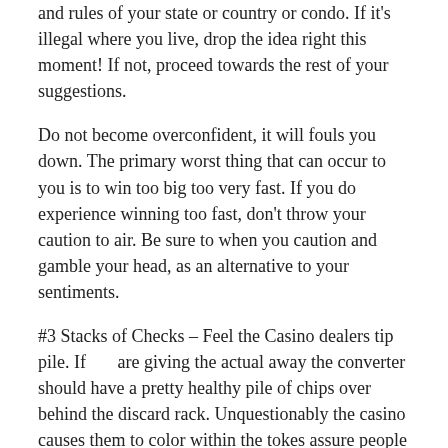and rules of your state or country or condo. If it's illegal where you live, drop the idea right this moment! If not, proceed towards the rest of your suggestions.
Do not become overconfident, it will fouls you down. The primary worst thing that can occur to you is to win too big too very fast. If you do experience winning too fast, don't throw your caution to air. Be sure to when you caution and gamble your head, as an alternative to your sentiments.
#3 Stacks of Checks – Feel the Casino dealers tip pile. If      are giving the actual away the converter should have a pretty healthy pile of chips over behind the discard rack. Unquestionably the casino causes them to color within the tokes assure people can not use this tip inside their advantage, plenty of casino dealers will choose told for this (because it is not their money, so they want you to win)!